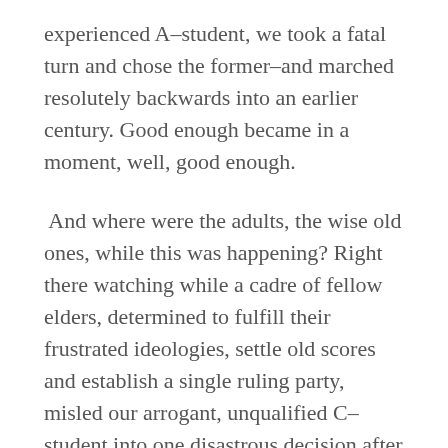experienced A–student, we took a fatal turn and chose the former–and marched resolutely backwards into an earlier century. Good enough became in a moment, well, good enough.
And where were the adults, the wise old ones, while this was happening? Right there watching while a cadre of fellow elders, determined to fulfill their frustrated ideologies, settle old scores and establish a single ruling party, misled our arrogant, unqualified C–student into one disastrous decision after another.